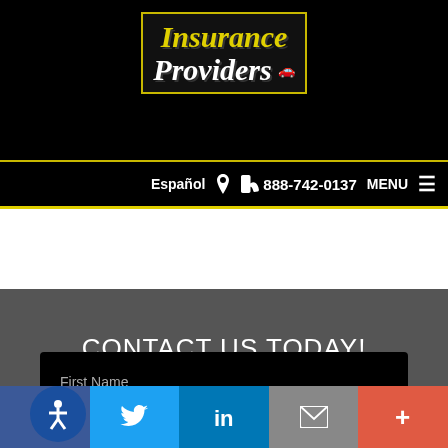[Figure (logo): Insurance Providers logo with yellow italic text 'Insurance' and white italic text 'Providers' with a car icon, on black background with yellow border]
Español  📍  📞 888-742-0137  MENU  ≡
CONTACT US TODAY!
888-742-0137
First Name
Facebook  Twitter  LinkedIn  Email  More